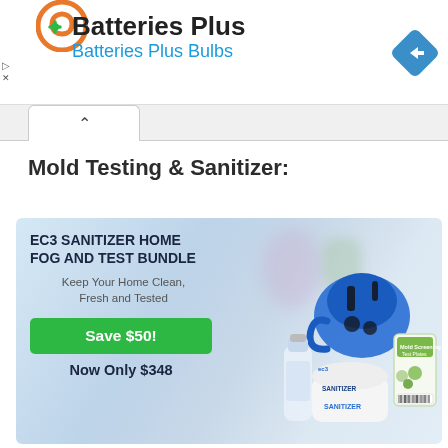[Figure (screenshot): Advertisement banner for Batteries Plus / Batteries Plus Bulbs with orange circular logo and blue navigation diamond icon]
Mold Testing & Sanitizer:
[Figure (photo): EC3 Sanitizer Home Fog and Test Bundle product advertisement image showing blue fogger machine, sanitizer bottle, and mold screening test plates. Green Save $50 button. Text: Keep Your Home Clean, Fresh and Tested. Now Only $348.]